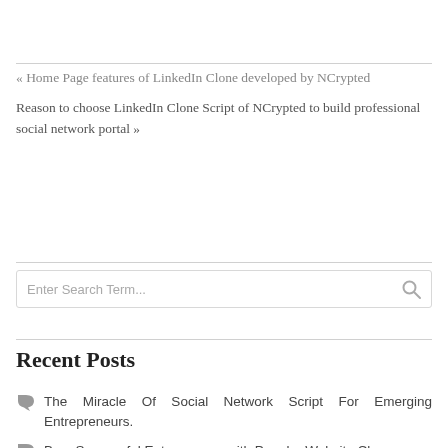« Home Page features of LinkedIn Clone developed by NCrypted
Reason to choose LinkedIn Clone Script of NCrypted to build professional social network portal »
[Figure (other): Search input box with placeholder 'Enter Search Term...' and a magnifying glass icon on the right]
Recent Posts
The Miracle Of Social Network Script For Emerging Entrepreneurs.
Be a Successful Entrepreneur with Popular Website Clones
Run most profitable business with customized LinkedIn Clone by NCrypted
Analyze popularity of LinkedIn before launching your own LinkedIn Clone